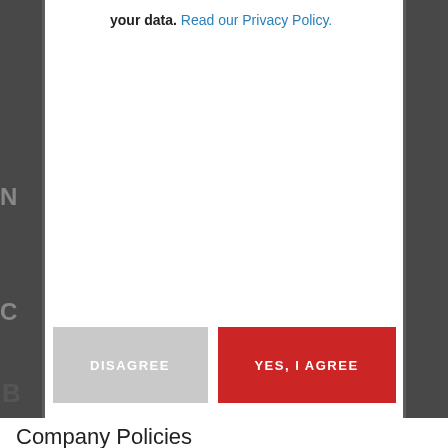your data. Read our Privacy Policy.
[Figure (screenshot): Cookie/privacy consent modal overlay on a dark background web page. The modal is white, centered, with two buttons: DISAGREE (gray) and YES, I AGREE (red).]
B
Company Policies
Corporate Social Responsibility